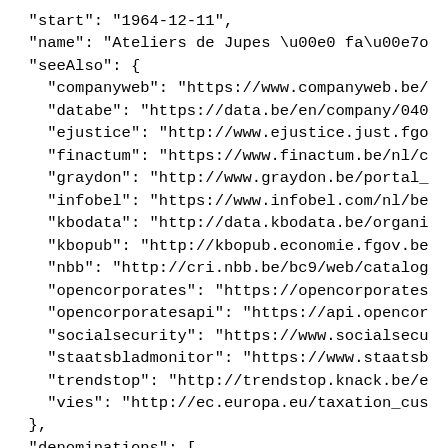"start": "1964-12-11",
"name": "Ateliers de Jupes \u00e0 fa\u00e7o
"seeAlso": {
  "companyweb": "https://www.companyweb.be/
  "databe": "https://data.be/en/company/040
  "ejustice": "http://www.ejustice.just.fgo
  "finactum": "https://www.finactum.be/nl/c
  "graydon": "http://www.graydon.be/portal_
  "infobel": "https://www.infobel.com/nl/be
  "kbodata": "http://data.kbodata.be/organi
  "kbopub": "http://kbopub.economie.fgov.be
  "nbb": "http://cri.nbb.be/bc9/web/catalog
  "opencorporates": "https://opencorporates
  "opencorporatesapi": "https://api.opencor
  "socialsecurity": "https://www.socialsecu
  "staatsbladmonitor": "https://www.staatsb
  "trendstop": "http://trendstop.knack.be/e
  "vies": "http://ec.europa.eu/taxation_cus
},
"denominations": [
  {
    "id": 400597825,
    "language": "FR",
    "nametype": 1,
    "name": "Ateliers de Jupes \u00e0 fa\u0